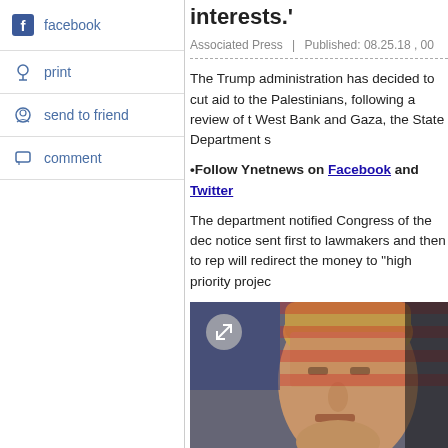facebook
print
send to friend
comment
interests.'
Associated Press | Published: 08.25.18 , 00
The Trump administration has decided to cut aid to the Palestinians, following a review of the West Bank and Gaza, the State Department s
•Follow Ynetnews on Facebook and Twitter
The department notified Congress of the dec notice sent first to lawmakers and then to rep will redirect the money to "high priority projec
[Figure (photo): Photo of Donald Trump with American flag in background]